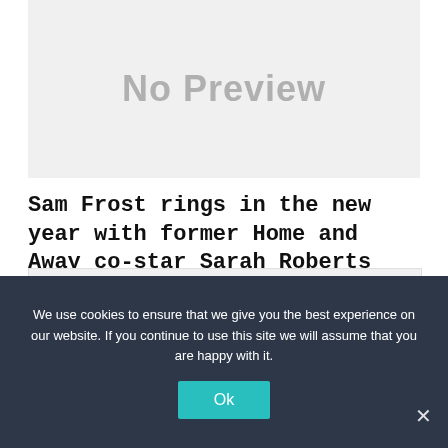[Figure (other): No Preview placeholder image box with light gray background and 'No Preview' text in gray]
Sam Frost rings in the new year with former Home and Away co-star Sarah Roberts
[Figure (other): Second placeholder image box with light gray background]
We use cookies to ensure that we give you the best experience on our website. If you continue to use this site we will assume that you are happy with it.